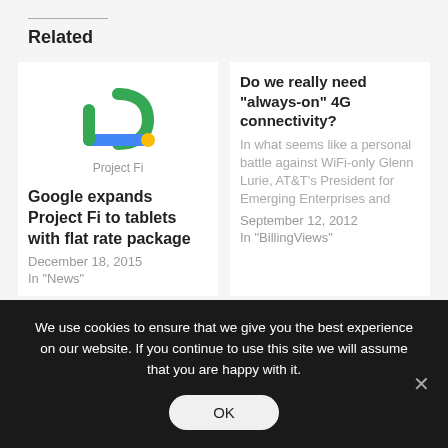Related
[Figure (logo): Project Fi logo — stylized 'fi' letters in green and blue with a yellow dot, and text 'Project Fi' below]
Google expands Project Fi to tablets with flat rate package
December 18, 2015
In "News"
Do we really need “always-on” 4G connectivity?
In what seems like a personal battle against WiFi-only Glenn Lurie, AT&T’s President for Emerging Enterprises and
September 12, 2012
In "BillingViews"
We use cookies to ensure that we give you the best experience on our website. If you continue to use this site we will assume that you are happy with it.